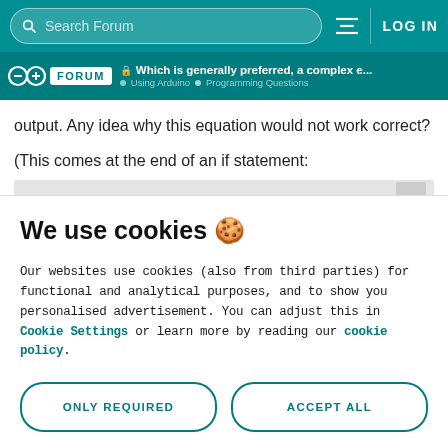Search Forum  LOG IN
FORUM  Which is generally preferred, a complex e...  Using Arduino  Programming Questions
output. Any idea why this equation would not work correct?
(This comes at the end of an if statement:
We use cookies 🍪
Our websites use cookies (also from third parties) for functional and analytical purposes, and to show you personalised advertisement. You can adjust this in Cookie Settings or learn more by reading our cookie policy.
ONLY REQUIRED
ACCEPT ALL